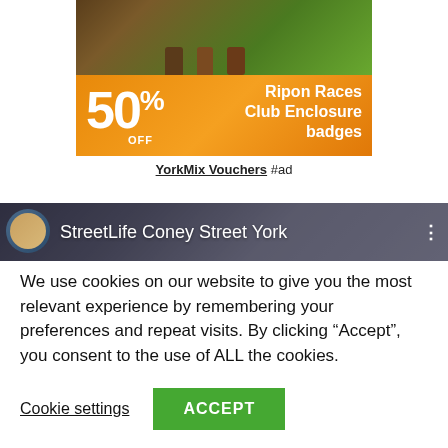[Figure (illustration): Advertisement banner for Ripon Races Club Enclosure badges at 50% off, with horses in background on orange gradient background]
YorkMix Vouchers #ad
[Figure (screenshot): StreetLife Coney Street York social media banner with avatar and building background]
We use cookies on our website to give you the most relevant experience by remembering your preferences and repeat visits. By clicking “Accept”, you consent to the use of ALL the cookies.
Cookie settings  ACCEPT